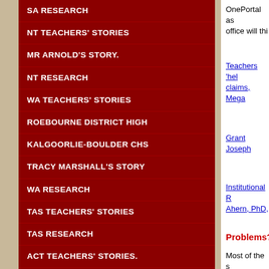SA RESEARCH
NT TEACHERS' STORIES
MR ARNOLD'S STORY.
NT RESEARCH
WA TEACHERS' STORIES
ROEBOURNE DISTRICT HIGH
KALGOORLIE-BOULDER CHS
TRACY MARSHALL'S STORY
WA RESEARCH
TAS TEACHERS' STORIES
TAS RESEARCH
ACT TEACHERS' STORIES.
ACT RESEARCH
AUSTRALIAN UNI STORIES
OnePortal as office will thi
Teachers 'hel claims, Mega
Grant Joseph
Institutional R Ahern, PhD,
Problems?
Most of the s
Publishing th